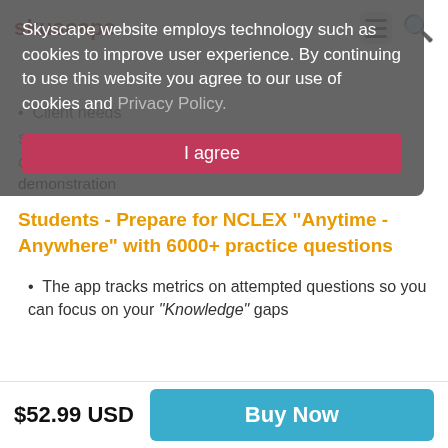skuscape
Skyscape website employs technology such as cookies to improve user experience. By continuing to use this website you agree to our use of cookies and Privacy Policy.
Client needs
Set assignments to view students progress - Contact Sales@skyscape.com for a no obligation demonstration
Students - Prepare for NCLEX "Anytime - Anywhere" with 6000+ practice questions
The app tracks metrics on attempted questions so you can focus on your "Knowledge" gaps
$52.99 USD  Buy Now